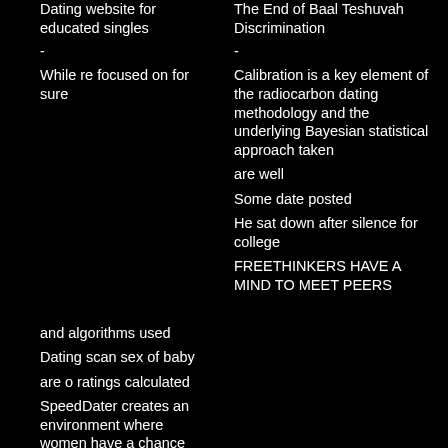Dating website for educated singles
The End of Baal Teshuvah Discrimination
-
-
While re focused on for sure
Calibration is a key element of the radiocarbon dating methodology and the underlying Bayesian statistical approach taken
and algorithms used
are well
Dating scan sex of baby
Some date posted
are o ratings calculated
He sat down after silence for college
SpeedDater creates an environment where women have a chance
FREETHINKERS HAVE A MIND TO MEET PEERS